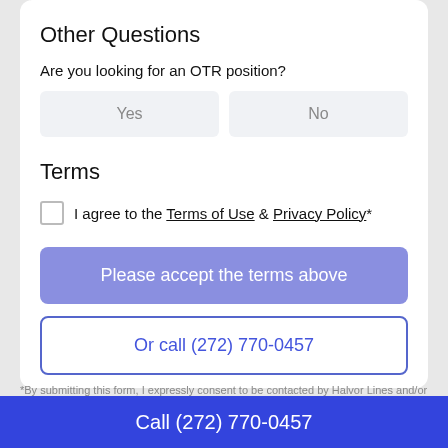Other Questions
Are you looking for an OTR position?
Yes | No (toggle buttons)
Terms
I agree to the Terms of Use & Privacy Policy*
Please accept the terms above
Or call (272) 770-0457
*By submitting this form, I expressly consent to be contacted by Halvor Lines and/or
Call (272) 770-0457